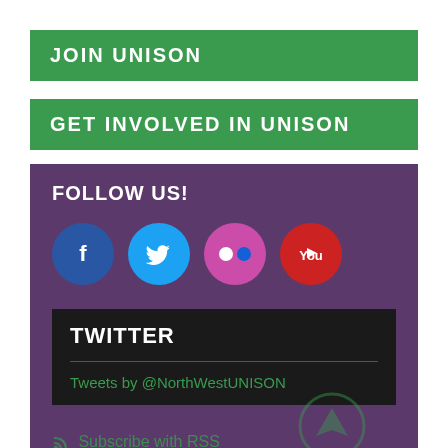JOIN UNISON
GET INVOLVED IN UNISON
FOLLOW US!
[Figure (infographic): Four social media icons: Facebook (blue), Twitter (light blue), Flickr (pink/purple), YouTube (red)]
TWITTER
Tweets by @NorthWestUNISON
Subscribe with RSS